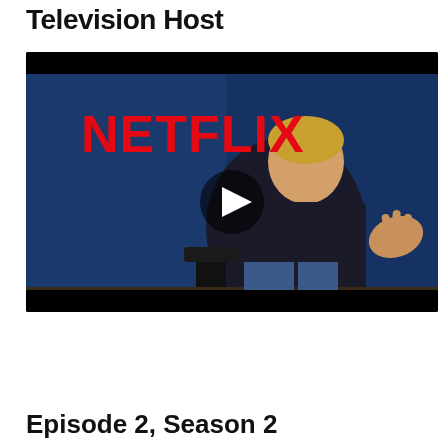Television Host
[Figure (screenshot): Video thumbnail showing a Netflix-branded interview scene. A person with short blonde hair sits in a chair gesturing with their hand against a blue background. The Netflix logo in red is visible in the upper left. A play button icon is overlaid at the center of the image.]
Episode 2, Season 2